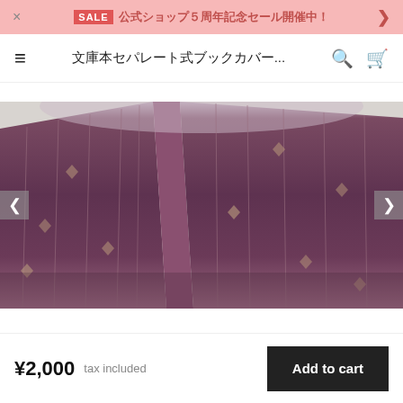SALE 公式ショップ５周年記念セール開催中！
文庫本セパレート式ブックカバー...
[Figure (photo): A dark purple/maroon woven fabric book cover with vertical stripe patterns and small diamond-shaped motifs, folded to show its spine, photographed against a light grey/white background.]
¥2,000  tax included
Add to cart